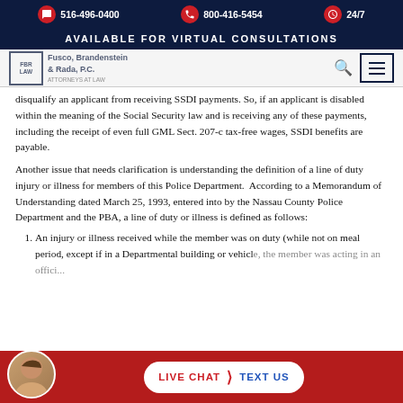516-496-0400   800-416-5454   24/7
AVAILABLE FOR VIRTUAL CONSULTATIONS
Fusco, Brandenstein & Rada, P.C.
disqualify an applicant from receiving SSDI payments. So, if an applicant is disabled within the meaning of the Social Security law and is receiving any of these payments, including the receipt of even full GML Sect. 207-c tax-free wages, SSDI benefits are payable.
Another issue that needs clarification is understanding the definition of a line of duty injury or illness for members of this Police Department. According to a Memorandum of Understanding dated March 25, 1993, entered into by the Nassau County Police Department and the PBA, a line of duty or illness is defined as follows:
An injury or illness received while the member was on duty (while not on meal period, except if in a Departmental building or vehicle, the member was acting in an officially...